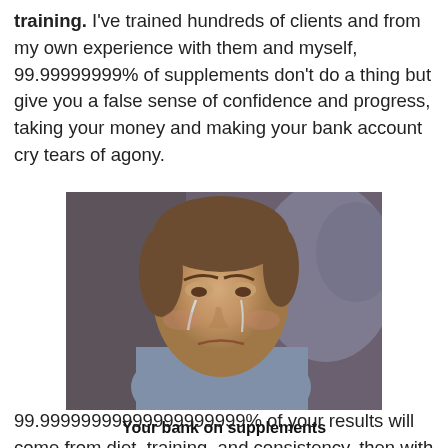training. I've trained hundreds of clients and from my own experience with them and myself, 99.99999999% of supplements don't do a thing but give you a false sense of confidence and progress, taking your money and making your bank account cry tears of agony.
[Figure (photo): A young man crying, from a movie scene, used as a meme image representing a sad/crying bank account.]
Your bank on supplements
99.99999999999999999999% of your results will come from diet, training, and consistency, then with